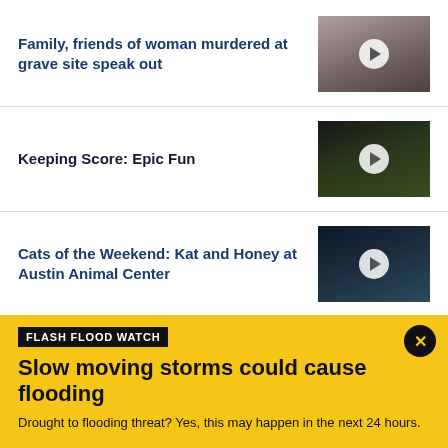Family, friends of woman murdered at grave site speak out
[Figure (photo): Video thumbnail of a woman with dark hair, play button overlay]
Keeping Score: Epic Fun
[Figure (photo): Video thumbnail of a dark sports scene, play button overlay]
Cats of the Weekend: Kat and Honey at Austin Animal Center
[Figure (photo): Video thumbnail of cats in cages with blue lighting, play button overlay]
Coronavirus Updates
View More
FLASH FLOOD WATCH
Slow moving storms could cause flooding
Drought to flooding threat? Yes, this may happen in the next 24 hours.